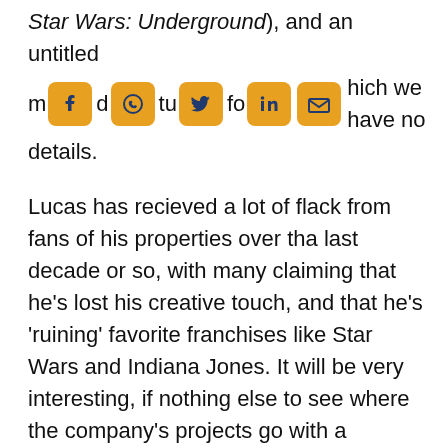Star Wars: Underground), and an untitled m d tu fo hich we have no details.
[Figure (infographic): Social media share icons: Facebook, WhatsApp, Twitter, LinkedIn, Email — orange/yellow rounded square icons with dark blue symbols]
Lucas has recieved a lot of flack from fans of his properties over tha last decade or so, with many claiming that he's lost his creative touch, and that he's 'ruining' favorite franchises like Star Wars and Indiana Jones. It will be very interesting, if nothing else to see where the company's projects go with a completely different, though similarly brilliant, driver at the wheel.